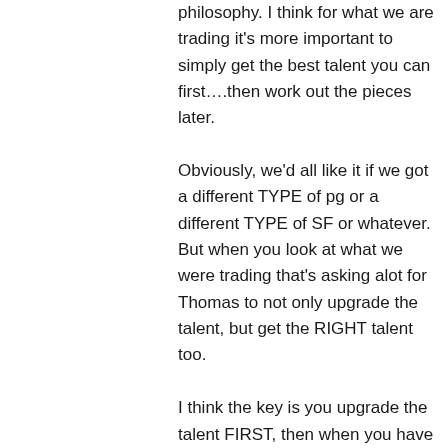philosophy. I think for what we are trading it's more important to simply get the best talent you can first….then work out the pieces later. Obviously, we'd all like it if we got a different TYPE of pg or a different TYPE of SF or whatever. But when you look at what we were trading that's asking alot for Thomas to not only upgrade the talent, but get the RIGHT talent too. I think the key is you upgrade the talent FIRST, then when you have players that teams actually want you can then go get the RIGHT players. Talking about some sort of Mr. here...